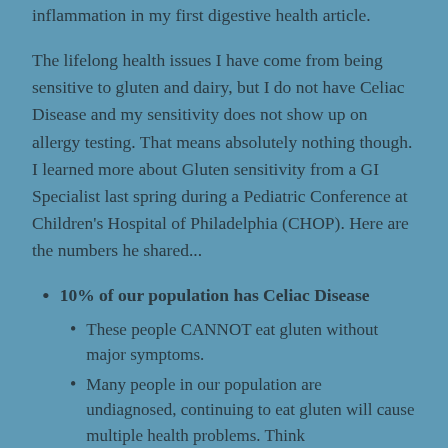inflammation in my first digestive health article.
The lifelong health issues I have come from being sensitive to gluten and dairy, but I do not have Celiac Disease and my sensitivity does not show up on allergy testing. That means absolutely nothing though. I learned more about Gluten sensitivity from a GI Specialist last spring during a Pediatric Conference at Children's Hospital of Philadelphia (CHOP). Here are the numbers he shared...
10% of our population has Celiac Disease
These people CANNOT eat gluten without major symptoms.
Many people in our population are undiagnosed, continuing to eat gluten will cause multiple health problems. Think